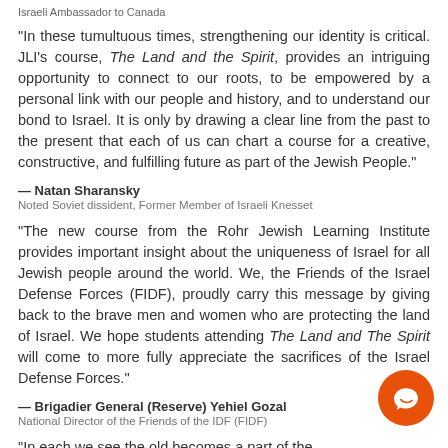Israeli Ambassador to Canada
"In these tumultuous times, strengthening our identity is critical. JLI's course, The Land and the Spirit, provides an intriguing opportunity to connect to our roots, to be empowered by a personal link with our people and history, and to understand our bond to Israel. It is only by drawing a clear line from the past to the present that each of us can chart a course for a creative, constructive, and fulfilling future as part of the Jewish People."
— Natan Sharansky
Noted Soviet dissident, Former Member of Israeli Knesset
"The new course from the Rohr Jewish Learning Institute provides important insight about the uniqueness of Israel for all Jewish people around the world. We, the Friends of the Israel Defense Forces (FIDF), proudly carry this message by giving back to the brave men and women who are protecting the land of Israel. We hope students attending The Land and The Spirit will come to more fully appreciate the sacrifices of the Israel Defense Forces."
— Brigadier General (Reserve) Yehiel Gozal
National Director of the Friends of the IDF (FIDF)
"In each we see the old becomes a part of the...